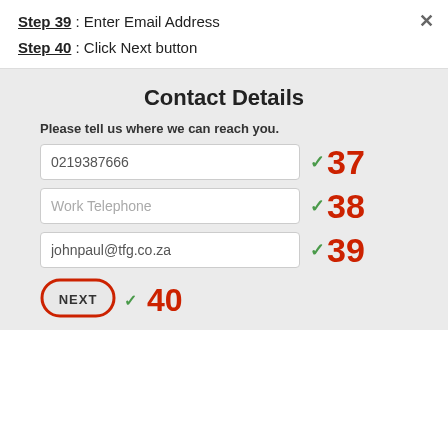Step 39: Enter Email Address
Step 40: Click Next button
[Figure (screenshot): Contact Details form with three input fields: phone number (0219387666), Work Telephone (empty), and email (johnpaul@tfg.co.za), each annotated with green checkmarks and red step numbers 37, 38, 39. A NEXT button circled in red at the bottom is annotated with step number 40.]